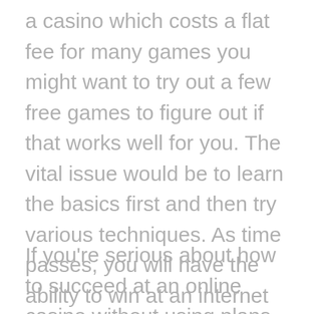a casino which costs a flat fee for many games you might want to try out a few free games to figure out if that works well for you. The vital issue would be to learn the basics first and then try various techniques. As time passes, you will have the ability to win at an internet casino without using any plans in any way.
If you're serious about how to succeed at an online casino without using plans, then you will have to learn everything